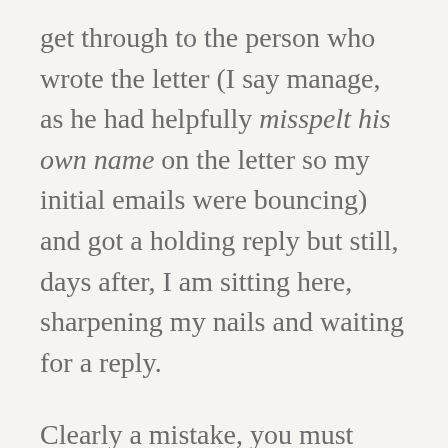get through to the person who wrote the letter (I say manage, as he had helpfully misspelt his own name on the letter so my initial emails were bouncing) and got a holding reply but still, days after, I am sitting here, sharpening my nails and waiting for a reply.
Clearly a mistake, you must think. No need to get one's knickers in a twist. It may be, but just within last week I have heard of two other trachy vented families who have had their hours cut or